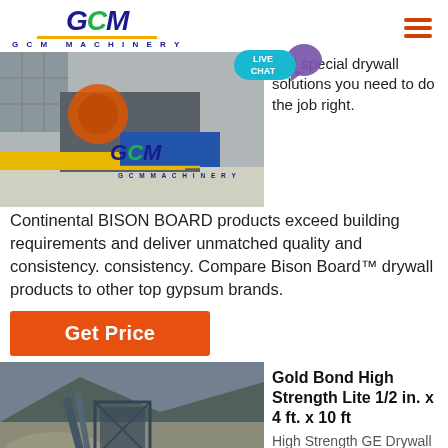GCM MACHINERY
[Figure (photo): GCM Machinery industrial crusher machine in a factory setting with GCM logo overlay]
and special drywall solutions you need to do the job right. Continental BISON BOARD products exceed building requirements and deliver unmatched quality and consistency. consistency. Compare Bison Board™ drywall products to other top gypsum brands.
Get Price
[Figure (photo): Outdoor quarry or mining site with conveyor structures and crushed stone piles]
Gold Bond High Strength Lite 1/2 in. x 4 ft. x 10 ft
High Strength GE Drywall Board can be used for walls.